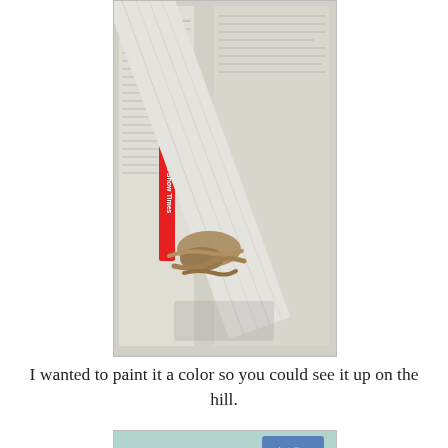[Figure (photo): A whitewashed wooden plank with a rope knot tied around it, resting on newspaper pages spread out on a surface.]
I wanted to paint it a color so you could see it up on the hill.
[Figure (photo): A painted light blue/teal wooden board with a walnut sitting on it next to a can of Annie Sloan Chalk Paint.]